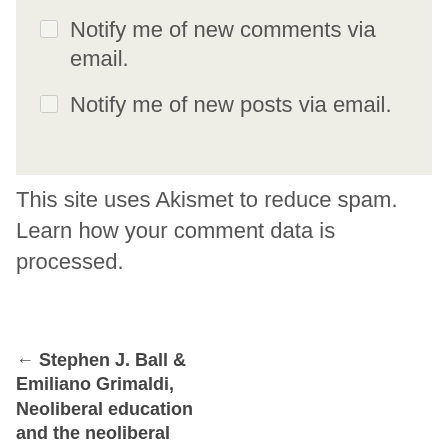Notify me of new comments via email.
Notify me of new posts via email.
This site uses Akismet to reduce spam. Learn how your comment data is processed.
← Stephen J. Ball & Emiliano Grimaldi, Neoliberal education and the neoliberal digital classroom (2021) De Sá, F. Z. ; Castel, S. A. Mobility